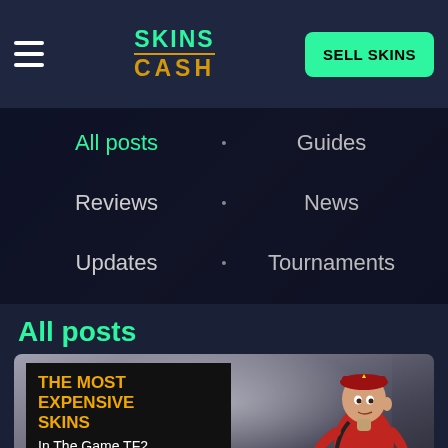SKINS CASH | SELL SKINS
All posts
Guides
Reviews
News
Updates
Tournaments
All posts
[Figure (screenshot): Article card thumbnail showing a TF2 soldier/scout character in red uniform with a red military cap against a grey gradient background. Text overlay reads THE MOST EXPENSIVE SKINS In The Game TF2]
THE MOST EXPENSIVE SKINS In The Game TF2